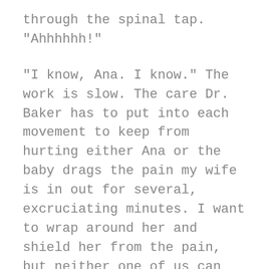through the spinal tap. "Ahhhhhh!"
"I know, Ana. I know." The work is slow. The care Dr. Baker has to put into each movement to keep from hurting either Ana or the baby drags the pain my wife is in out for several, excruciating minutes. I want to wrap around her and shield her from the pain, but neither one of us can move. I can only hold her still, and repeat again and again that they're both going to be okay.
I don't even know if I'm doing it for Ana or myself.
"Almost," Dr. Baker says. Ana's face contorts again and she lets out a horrible, pain-filled noise that cuts into me like a knife, then she lets out a breath and Dr. Baker pulls away smiling. "You're a rock star, Ana."